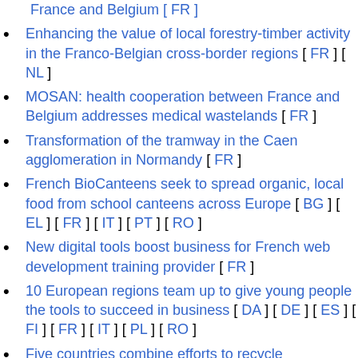France and Belgium [ FR ]
Enhancing the value of local forestry-timber activity in the Franco-Belgian cross-border regions [ FR ] [ NL ]
MOSAN: health cooperation between France and Belgium addresses medical wastelands [ FR ]
Transformation of the tramway in the Caen agglomeration in Normandy [ FR ]
French BioCanteens seek to spread organic, local food from school canteens across Europe [ BG ] [ EL ] [ FR ] [ IT ] [ PT ] [ RO ]
New digital tools boost business for French web development training provider [ FR ]
10 European regions team up to give young people the tools to succeed in business [ DA ] [ DE ] [ ES ] [ FI ] [ FR ] [ IT ] [ PL ] [ RO ]
Five countries combine efforts to recycle